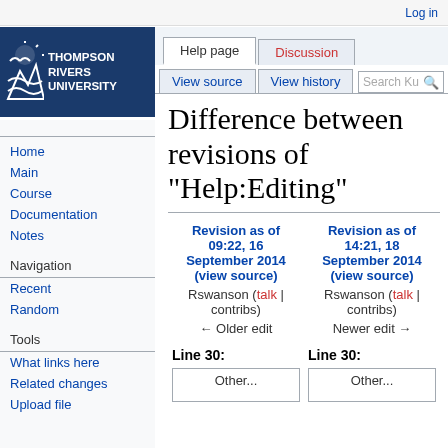Log in
[Figure (logo): Thompson Rivers University logo with white text and icon on dark blue background]
Help page | Discussion | Read | View source | View history | Search Ku [search button]
Difference between revisions of "Help:Editing"
| Revision as of 09:22, 16 September 2014 (view source) | Revision as of 14:21, 18 September 2014 (view source) |
| --- | --- |
| Rswanson (talk | contribs) | Rswanson (talk | contribs) |
| ← Older edit | Newer edit → |
Line 30:
Line 30:
Other...  Other...